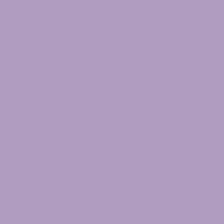კოდეხტაეები: 2966
lucky walle slot n cool cq91 sites game web a loo don't comp slotx slots not to bore spad not to is als Thai no w www